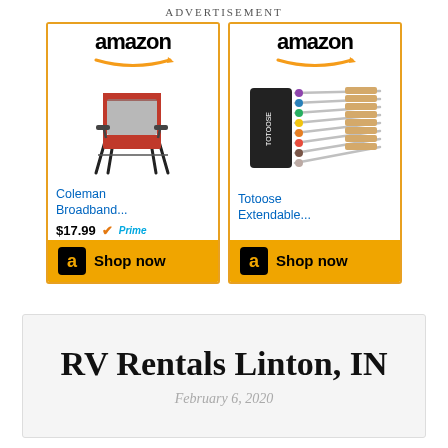ADVERTISEMENT
[Figure (other): Amazon advertisement showing two product cards. Left card: Coleman Broadband... $17.99 Prime, Shop now button. Right card: Totoose Extendable..., Shop now button.]
RV Rentals Linton, IN
February 6, 2020